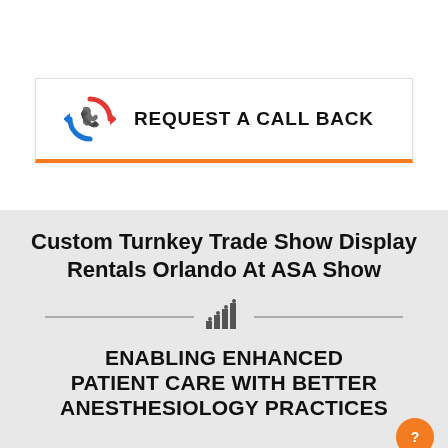[Figure (logo): Request a Call Back button with phone/arrows icon in red and blue, orange bottom border]
Custom Turnkey Trade Show Display Rentals Orlando At ASA Show
[Figure (infographic): Bar chart growth icon with horizontal divider lines on either side]
ENABLING ENHANCED PATIENT CARE WITH BETTER ANESTHESIOLOGY PRACTICES